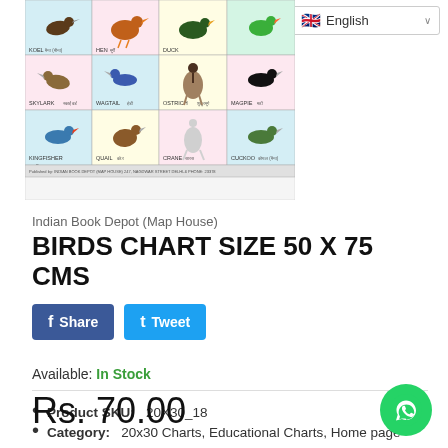[Figure (illustration): A birds educational chart showing various birds labeled in English and Hindi including Koel, Hen, Duck, Skylark, Wagtail, Ostrich, Magpie, Kingfisher, Quail, Crane, Cuckoo arranged in a grid with colored backgrounds.]
Indian Book Depot (Map House)
BIRDS CHART SIZE 50 X 75 CMS
Share  Tweet
Available: In Stock
Product SKU:   20X30_18
Category:   20x30 Charts, Educational Charts, Home page
Rs. 70.00